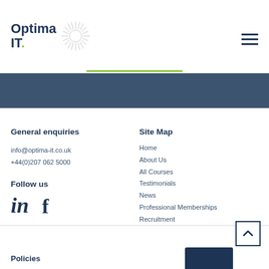[Figure (logo): Optima IT logo with sunburst graphic and text]
General enquiries
info@optima-it.co.uk
+44(0)207 062 5000
Follow us
[Figure (illustration): LinkedIn and Facebook social media icons]
Site Map
Home
About Us
All Courses
Testimonials
News
Professional Memberships
Recruitment
Contact
Policies